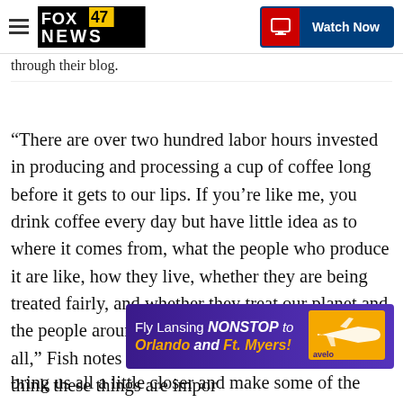FOX 47 NEWS | Watch Now
through their blog.
“There are over two hundred labor hours invested in producing and processing a cup of coffee long before it gets to our lips. If you’re like me, you drink coffee every day but have little idea as to where it comes from, what the people who produce it are like, how they live, whether they are being treated fairly, and whether they treat our planet and the people around them in a sustainable manner for all,” Fish notes in the About section of his blog. “I think these things are important…n bring us all a little closer and make some of the
[Figure (infographic): Advertisement banner: Fly Lansing NONSTOP to Orlando and Ft. Myers! with Avelo airline logo and airplane graphic.]